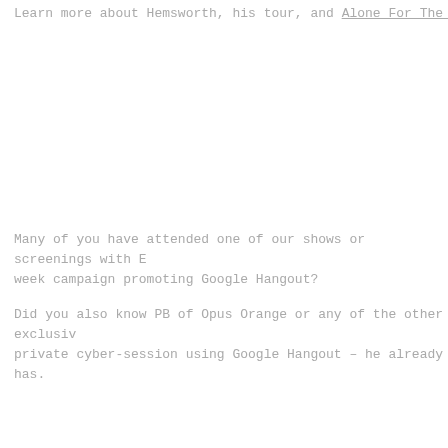Learn more about Hemsworth, his tour, and Alone For The First T
Many of you have attended one of our shows or screenings with E week campaign promoting Google Hangout?
Did you also know PB of Opus Orange or any of the other exclusiv private cyber-session using Google Hangout – he already has.